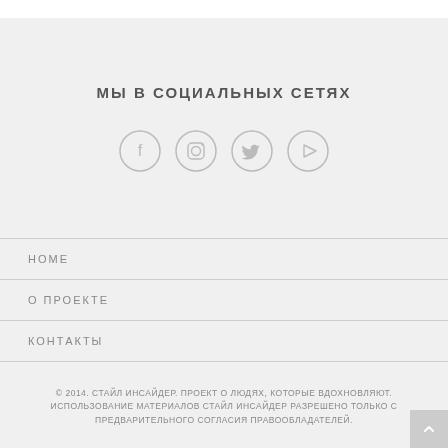МЫ В СОЦИАЛЬНЫХ СЕТЯХ
[Figure (infographic): Four circular social media icons: Facebook (f), Instagram (camera), Twitter (bird), YouTube (play button). Outlined circles with grey stroke.]
HOME
О ПРОЕКТЕ
КОНТАКТЫ
© 2014. СТАЙЛ ИНСАЙДЕР. ПРОЕКТ О ЛЮДЯХ, КОТОРЫЕ ВДОХНОВЛЯЮТ. ИСПОЛЬЗОВАНИЕ МАТЕРИАЛОВ СТАЙЛ ИНСАЙДЕР РАЗРЕШЕНО ТОЛЬКО С ПРЕДВАРИТЕЛЬНОГО СОГЛАСИЯ ПРАВООБЛАДАТЕЛЕЙ.